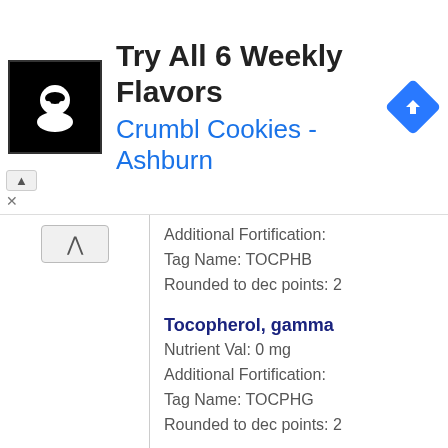[Figure (screenshot): Ad banner for Crumbl Cookies - Ashburn: Try All 6 Weekly Flavors, with logo and navigation icon]
Additional Fortification:
Tag Name: TOCPHB
Rounded to dec points: 2
Tocopherol, gamma
Nutrient Val: 0 mg
Additional Fortification:
Tag Name: TOCPHG
Rounded to dec points: 2
Tocopherol, delta
Nutrient Val: 0 mg
Additional Fortification:
Tag Name: TOCPHD
Rounded to dec points: 2
Vitamin K (phylloquinone)
Nutrient Val: 1 mcg
Additional Fortification:
Tag Name: VITK1